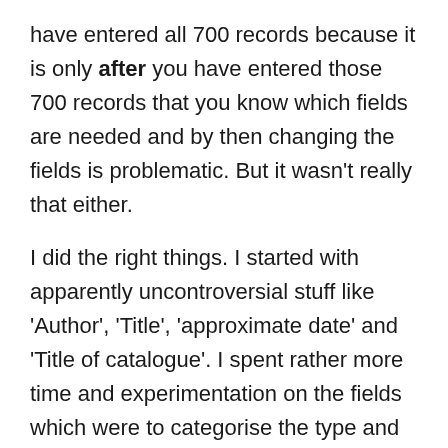have entered all 700 records because it is only after you have entered those 700 records that you know which fields are needed and by then changing the fields is problematic. But it wasn't really that either.
I did the right things. I started with apparently uncontroversial stuff like 'Author', 'Title', 'approximate date' and 'Title of catalogue'. I spent rather more time and experimentation on the fields which were to categorise the type and content of the text concerned: 'Letters', 'Sermons', 'Biography' for example, as well as 'Patristic', 'Grammar' and 'Astronomy'. I did quite a bit of sampling and refining. I came up with some sort of system to ensure consistency and found the kind of fixes that are required when ninth century monastic librarians meet 21st century technology. I learned quite quickly, for example, that